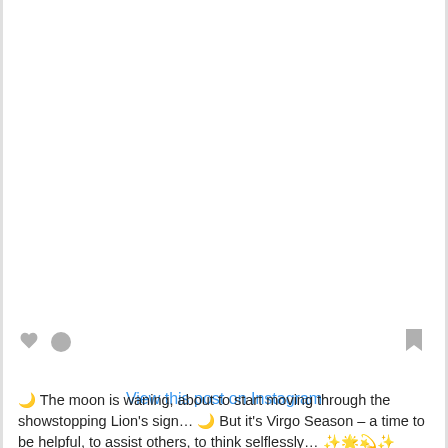View this post on Instagram
[Figure (screenshot): Instagram post action bar with heart icon, comment bubble icon, and bookmark icon]
🌙 The moon is waning, about to start moving through the showstopping Lion's sign… 🌙 But it's Virgo Season – a time to be helpful, to assist others, to think selflessly… ✨🌟💫✨